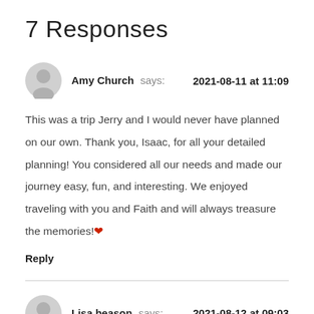7 Responses
Amy Church says: 2021-08-11 at 11:09
This was a trip Jerry and I would never have planned on our own. Thank you, Isaac, for all your detailed planning! You considered all our needs and made our journey easy, fun, and interesting. We enjoyed traveling with you and Faith and will always treasure the memories!❤
Reply
Lisa beason says: 2021-08-12 at 09:03